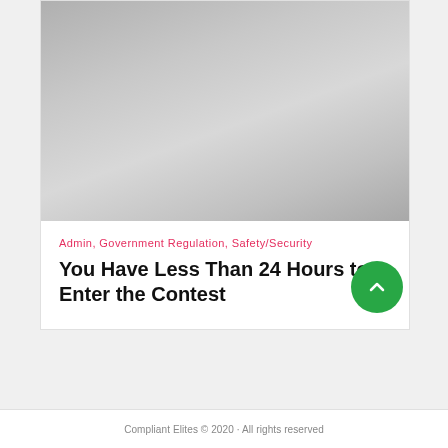[Figure (photo): Gray gradient image area representing a photograph placeholder at the top of the card]
Admin, Government Regulation, Safety/Security
You Have Less Than 24 Hours to Enter the Contest
Compliant Elites © 2020 · All rights reserved